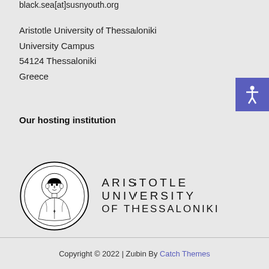black.sea[at]susnyouth.org
Aristotle University of Thessaloniki
University Campus
54124 Thessaloniki
Greece
Our hosting institution
[Figure (logo): Aristotle University of Thessaloniki logo — circular seal with figure of Aristotle on left, and text ARISTOTLE UNIVERSITY OF THESSALONIKI on right]
Copyright © 2022 | Zubin By Catch Themes